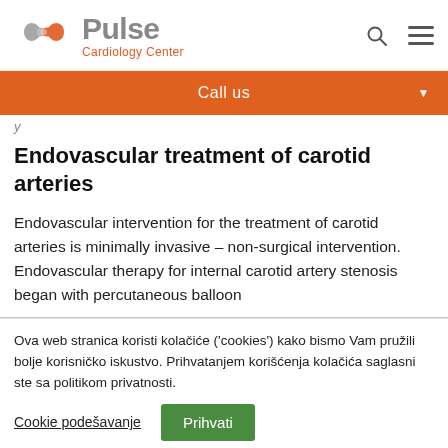[Figure (logo): Pulse Cardiology Center logo with interlinked hearts icon in gray and orange, and text 'Pulse' in gray bold and 'Cardiology Center' in orange]
Call us
y
Endovascular treatment of carotid arteries
Endovascular intervention for the treatment of carotid arteries is minimally invasive – non-surgical intervention. Endovascular therapy for internal carotid artery stenosis began with percutaneous balloon
Ova web stranica koristi kolačiće ('cookies') kako bismo Vam pružili bolje korisničko iskustvo. Prihvatanjem korišćenja kolačića saglasni ste sa politikom privatnosti.
Cookie podešavanje   Prihvati